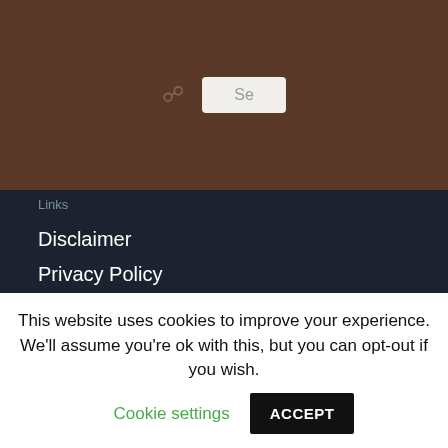[Figure (screenshot): Dark brown navigation header bar with a search icon and a search box showing 'Se']
Links
Disclaimer
Privacy Policy
Terms and Conditions
Adres
Ligusterbaan 1,
3860 LW Capelle aan den IJssel
This website uses cookies to improve your experience. We'll assume you're ok with this, but you can opt-out if you wish.
Cookie settings
ACCEPT